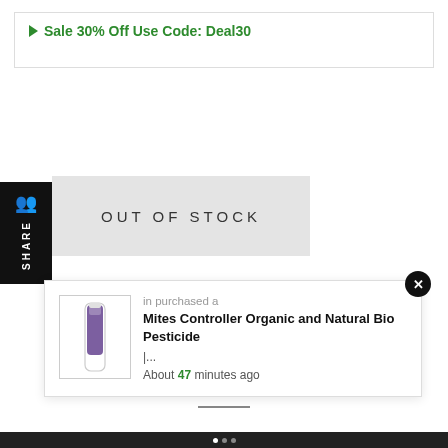▶ Sale 30% Off Use Code: Deal30
OUT OF STOCK
in purchased a
Mites Controller Organic and Natural Bio Pesticide
|...
About 47 minutes ago
At BioBlooms Shop we specialize in biological lawn, seeds, pots, air purifier and so on products and services. We use healthy, sustainable practices to create a environment you can feel good about.